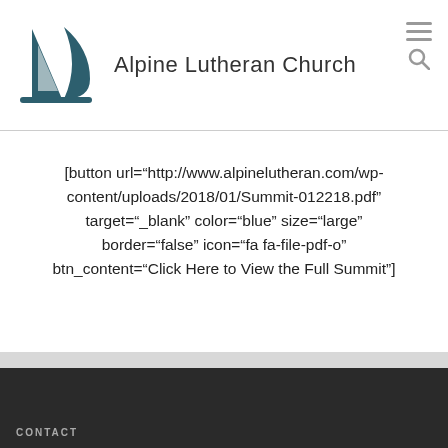[Figure (logo): Alpine Lutheran Church sailboat/cross logo in dark teal with text 'Alpine Lutheran Church']
[button url="http://www.alpinelutheran.com/wp-content/uploads/2018/01/Summit-012218.pdf" target="_blank" color="blue" size="large" border="false" icon="fa fa-file-pdf-o" btn_content="Click Here to View the Full Summit"]
CONTACT